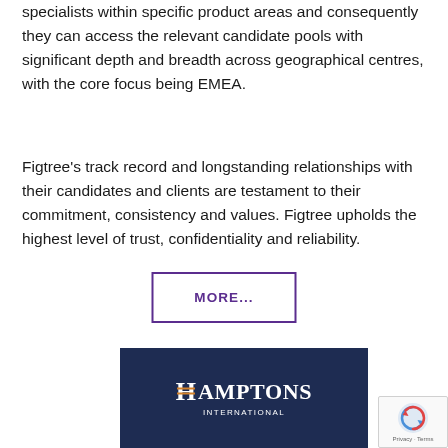specialists within specific product areas and consequently they can access the relevant candidate pools with significant depth and breadth across geographical centres, with the core focus being EMEA.
Figtree's track record and longstanding relationships with their candidates and clients are testament to their commitment, consistency and values. Figtree upholds the highest level of trust, confidentiality and reliability.
MORE...
[Figure (logo): Hamptons International logo on dark navy blue background — serif H with orange horizontal stripes, text AMPTONS in white serif capitals, INTERNATIONAL below in smaller white caps]